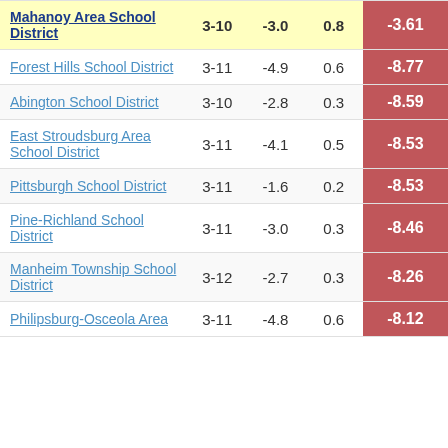| School District | Grades | Col3 | Col4 | Score |
| --- | --- | --- | --- | --- |
| Mahanoy Area School District | 3-10 | -3.0 | 0.8 | -3.61 |
| Forest Hills School District | 3-11 | -4.9 | 0.6 | -8.77 |
| Abington School District | 3-10 | -2.8 | 0.3 | -8.59 |
| East Stroudsburg Area School District | 3-11 | -4.1 | 0.5 | -8.53 |
| Pittsburgh School District | 3-11 | -1.6 | 0.2 | -8.53 |
| Pine-Richland School District | 3-11 | -3.0 | 0.3 | -8.46 |
| Manheim Township School District | 3-12 | -2.7 | 0.3 | -8.26 |
| Philipsburg-Osceola Area | 3-11 | -4.8 | 0.6 | -8.12 |